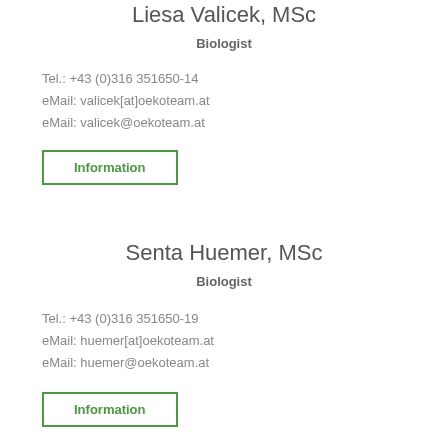Liesa Valicek, MSc
Biologist
Tel.: +43 (0)316 351650-14
eMail: valicek[at]oekoteam.at
eMail: valicek@oekoteam.at
Information
Senta Huemer, MSc
Biologist
Tel.: +43 (0)316 351650-19
eMail: huemer[at]oekoteam.at
eMail: huemer@oekoteam.at
Information